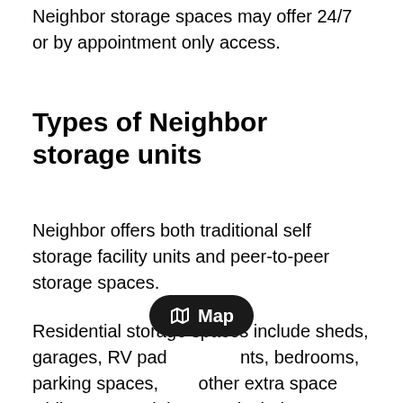Neighbor storage spaces may offer 24/7 or by appointment only access.
Types of Neighbor storage units
Neighbor offers both traditional self storage facility units and peer-to-peer storage spaces.
Residential storage spaces include sheds, garages, RV pads, basements, bedrooms, parking spaces, and other extra space while commercial spaces include
[Figure (other): A dark rounded pill-shaped tooltip button showing a map icon and the text 'Map']